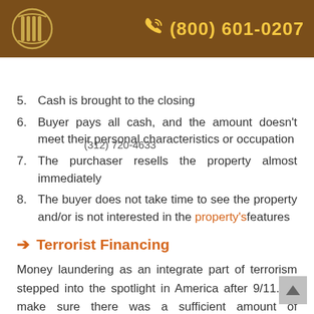(800) 601-0207
(312) 720-4633
5. Cash is brought to the closing
6. Buyer pays all cash, and the amount doesn't meet their personal characteristics or occupation
7. The purchaser resells the property almost immediately
8. The buyer does not take time to see the property and/or is not interested in the property's features
Terrorist Financing
Money laundering as an integrate part of terrorism stepped into the spotlight in America after 9/11. To make sure there was a sufficient amount of monitoring by financial institutions, the US Government made sure to include clauses in the USA